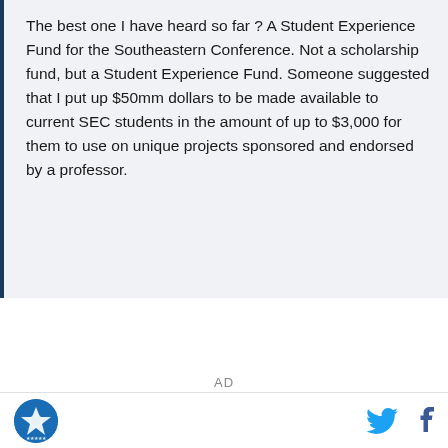The best one I have heard so far ? A Student Experience Fund for the Southeastern Conference. Not a scholarship fund, but a Student Experience Fund. Someone suggested that I put up $50mm dollars to be made available to current SEC students in the amount of up to $3,000 for them to use on unique projects sponsored and endorsed by a professor.
AD